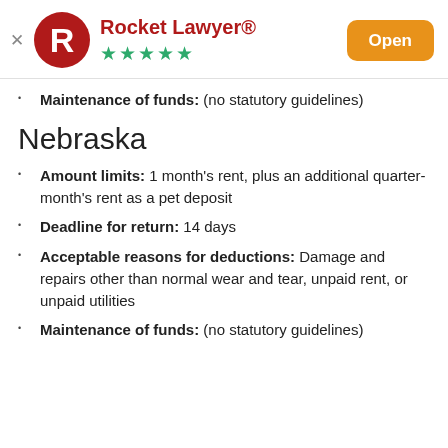Rocket Lawyer®
Maintenance of funds: (no statutory guidelines)
Nebraska
Amount limits: 1 month's rent, plus an additional quarter-month's rent as a pet deposit
Deadline for return: 14 days
Acceptable reasons for deductions: Damage and repairs other than normal wear and tear, unpaid rent, or unpaid utilities
Maintenance of funds: (no statutory guidelines)